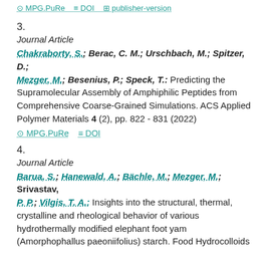MPG.PuRe  DOI  publisher-version
3.
Journal Article
Chakraborty, S.; Berac, C. M.; Urschbach, M.; Spitzer, D.; Mezger, M.; Besenius, P.; Speck, T.: Predicting the Supramolecular Assembly of Amphiphilic Peptides from Comprehensive Coarse-Grained Simulations. ACS Applied Polymer Materials 4 (2), pp. 822 - 831 (2022)
MPG.PuRe  DOI
4.
Journal Article
Barua, S.; Hanewald, A.; Bächle, M.; Mezger, M.; Srivastav, P. P.; Vilgis, T. A.: Insights into the structural, thermal, crystalline and rheological behavior of various hydrothermally modified elephant foot yam (Amorphophallus paeoniifolius) starch. Food Hydrocolloids